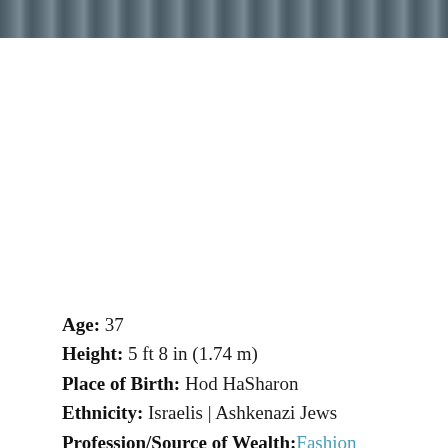[Figure (photo): Partial photograph of a building with brick or stone wall texture, shown as a strip at the top of the page]
Age: 37
Height: 5 ft 8 in (1.74 m)
Place of Birth: Hod HaSharon
Ethnicity: Israelis | Ashkenazi Jews
Profession/Source of Wealth: Fashion